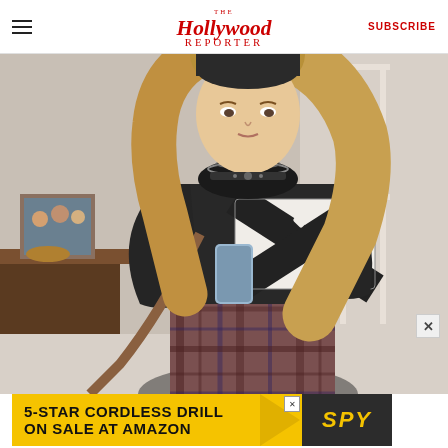The Hollywood Reporter — SUBSCRIBE
[Figure (photo): A young woman with long blonde hair wearing a dark patterned sweater with a black and white geometric/aztec design, plaid skirt, holding a phone and clutch. She stands in what appears to be an interior room setting. A brown leather bag hangs from her shoulder.]
[Figure (screenshot): Advertisement banner: 5-STAR CORDLESS DRILL ON SALE AT AMAZON / SPY logo on dark background with yellow text]